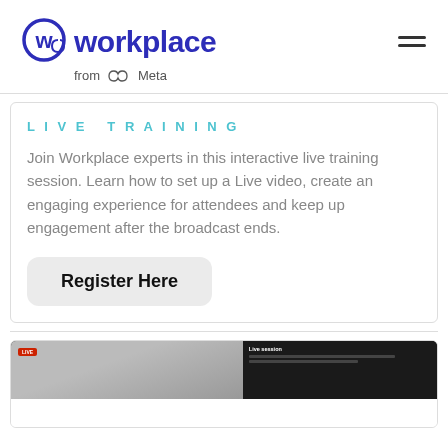[Figure (logo): Workplace from Meta logo — circular W icon in blue-purple, 'workplace' wordmark in dark blue-purple, 'from Meta' in gray below]
LIVE TRAINING
Join Workplace experts in this interactive live training session. Learn how to set up a Live video, create an engaging experience for attendees and keep up engagement after the broadcast ends.
Register Here
[Figure (screenshot): Screenshot of a Workplace Live video interface with a dark background, showing a presenter on the left panel and a live session sidebar on the right]